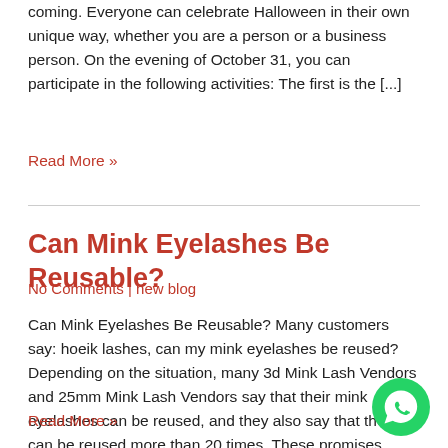coming. Everyone can celebrate Halloween in their own unique way, whether you are a person or a business person. On the evening of October 31, you can participate in the following activities: The first is the [...]
Read More »
Can Mink Eyelashes Be Reusable?
No Comments | new blog
Can Mink Eyelashes Be Reusable? Many customers say: hoeik lashes, can my mink eyelashes be reused? Depending on the situation, many 3d Mink Lash Vendors and 25mm Mink Lash Vendors say that their mink eyelashes can be reused, and they also say that they can be reused more than 20 times. These promises make you doubt! In fact, [...]
Read More »
[Figure (logo): WhatsApp contact button (green circle with phone handset icon)]